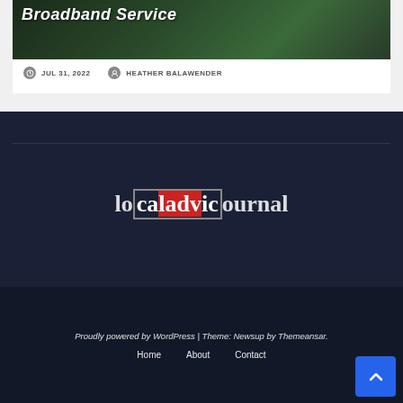[Figure (photo): Article card with dark green background showing a laptop/tech image. Title text 'Broadband Service' is overlaid in white bold italic.]
JUL 31, 2022   HEATHER BALAWENDER
[Figure (logo): localadvjournal logo with 'cladv' portion highlighted in a red/dark bordered badge, centered on dark navy background]
Proudly powered by WordPress | Theme: Newsup by Themeansar.
Home   About   Contact